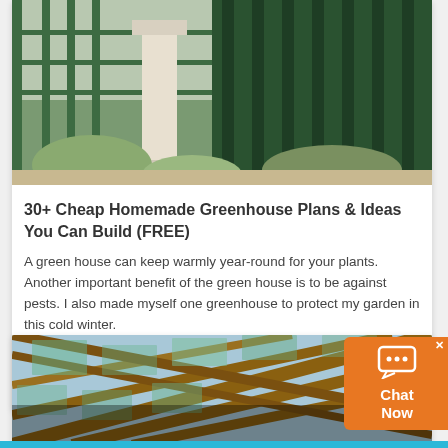[Figure (photo): Photo of a greenhouse or electrical substation with green metal structures, columns, and shrubs in daylight.]
30+ Cheap Homemade Greenhouse Plans & Ideas You Can Build (FREE)
A green house can keep warmly year-round for your plants. Another important benefit of the green house is to be against pests. I also made myself one greenhouse to protect my garden in this cold winter.
[Figure (photo): Close-up photo of a greenhouse lattice roof structure with golden/yellow framing and sky visible through glass panels.]
[Figure (other): Orange chat widget with speech bubble icon, x close button, and 'Chat Now' text.]